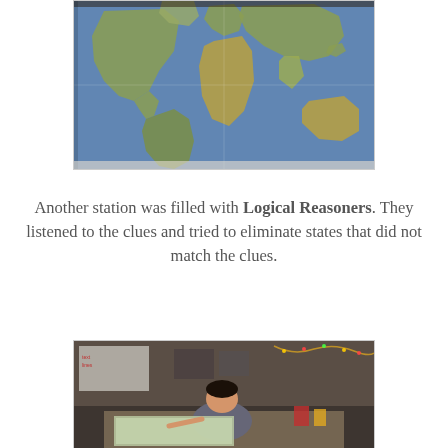[Figure (photo): A world map laid open on a table, showing continents in green/brown on a blue ocean background, photographed from above at an angle.]
Another station was filled with Logical Reasoners. They listened to the clues and tried to eliminate states that did not match the clues.
[Figure (photo): A student sitting at a desk in a classroom, leaning over what appears to be a map or worksheet, with classroom supplies and decorations visible in the background.]